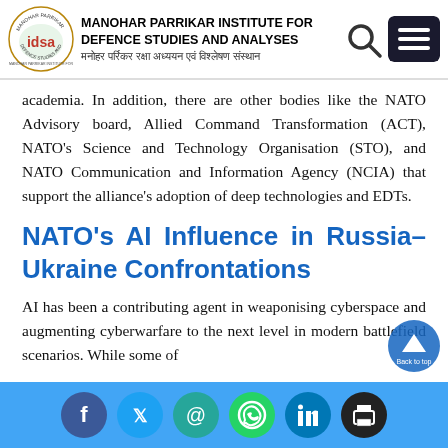MANOHAR PARRIKAR INSTITUTE FOR DEFENCE STUDIES AND ANALYSES | मनोहर पर्रिकर रक्षा अध्ययन एवं विश्लेषण संस्थान
academia. In addition, there are other bodies like the NATO Advisory board, Allied Command Transformation (ACT), NATO's Science and Technology Organisation (STO), and NATO Communication and Information Agency (NCIA) that support the alliance's adoption of deep technologies and EDTs.
NATO's AI Influence in Russia–Ukraine Confrontations
AI has been a contributing agent in weaponising cyberspace and augmenting cyberwarfare to the next level in modern battlefield scenarios. While some of
Social share icons: Facebook, Twitter, Email, WhatsApp, LinkedIn, Print